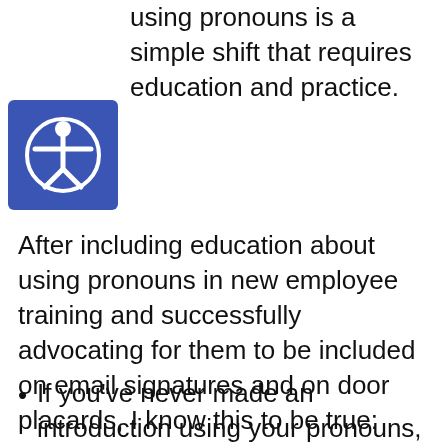using pronouns is a simple shift that requires education and practice.
[Figure (illustration): Accessibility icon: white person with arms outstretched inside a circle on a blue square background]
After including education about using pronouns in new employee training and successfully advocating for them to be included on email signatures and on door placards, I know this to be true:
If you've never made an introduction using your pronouns, it feels awkward